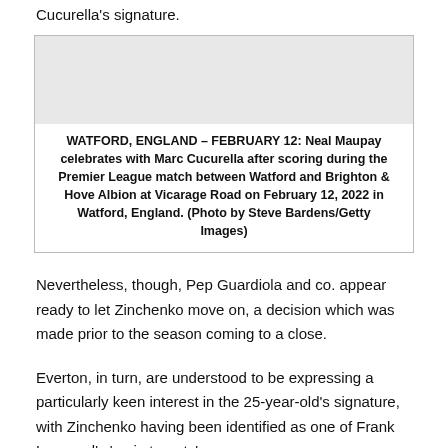Cucurella's signature.
[Figure (photo): Photo placeholder showing Neal Maupay celebrating with Marc Cucurella]
WATFORD, ENGLAND – FEBRUARY 12: Neal Maupay celebrates with Marc Cucurella after scoring during the Premier League match between Watford and Brighton & Hove Albion at Vicarage Road on February 12, 2022 in Watford, England. (Photo by Steve Bardens/Getty Images)
Nevertheless, though, Pep Guardiola and co. appear ready to let Zinchenko move on, a decision which was made prior to the season coming to a close.
Everton, in turn, are understood to be expressing a particularly keen interest in the 25-year-old's signature, with Zinchenko having been identified as one of Frank Lampard's 'main targets'.
The Toffees may well have to fight off competition from Premier League rivals Arsenal, though, also long tipped as a potential landing spot for Man City's versatile full-back.